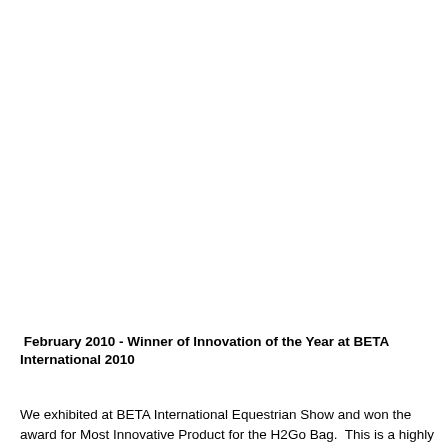February 2010 - Winner of Innovation of the Year at BETA International 2010
We exhibited at BETA International Equestrian Show and won the award for Most Innovative Product for the H2Go Bag.  This is a highly